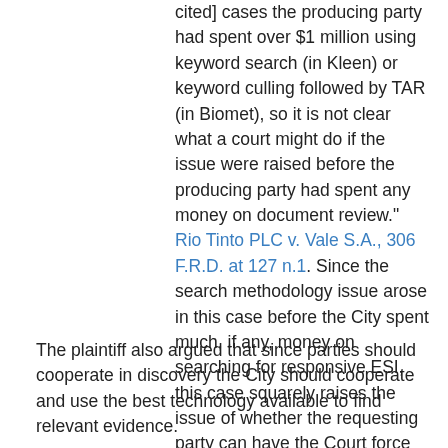cited] cases the producing party had spent over $1 million using keyword search (in Kleen) or keyword culling followed by TAR (in Biomet), so it is not clear what a court might do if the issue were raised before the producing party had spent any money on document review." Rio Tinto PLC v. Vale S.A., 306 F.R.D. at 127 n.1. Since the search methodology issue arose in this case before the City spent much, if any, money on searching for responsive ESI, this case squarely raises the issue of whether the requesting party can have the Court force the responding party to use TAR.
The plaintiff also argued that since parties should cooperate in discovery the City should cooperate and use the best technology available to find relevant evidence.